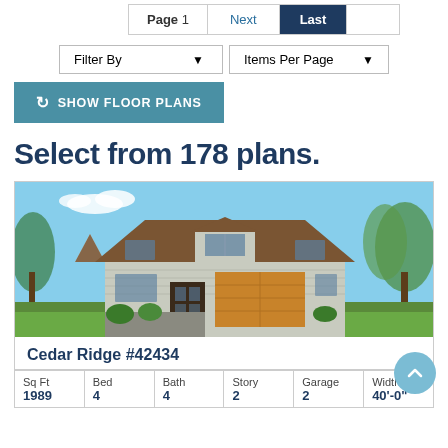Page 1  Next  Last
Filter By  Items Per Page
SHOW FLOOR PLANS
Select from 178 plans.
[Figure (photo): Exterior rendering of Cedar Ridge house plan #42434, a craftsman-style home with gray board-and-batten siding, brown shingle roof, wooden garage door, and landscaped front yard under blue sky.]
Cedar Ridge #42434
| Sq Ft | Bed | Bath | Story | Garage | Width |
| --- | --- | --- | --- | --- | --- |
| 1989 | 4 | 4 | 2 | 2 | 40'-0" |